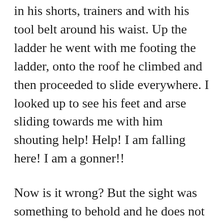in his shorts, trainers and with his tool belt around his waist. Up the ladder he went with me footing the ladder, onto the roof he climbed and then proceeded to slide everywhere. I looked up to see his feet and arse sliding towards me with him shouting help! Help! I am falling here! I am a gonner!!
Now is it wrong? But the sight was something to behold and he does not know (although he will when he reads this post)  I started to laugh; there I stood at the bottom of the ladder looking at my husbands arse hurtling towards me giggling whilst  also thinking shit!! If he falls we